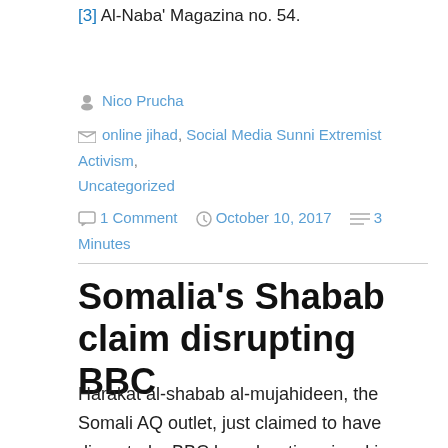[3] Al-Naba' Magazina no. 54.
Nico Prucha
online jihad, Social Media Sunni Extremist Activism, Uncategorized
1 Comment   October 10, 2017   3 Minutes
Somalia's Shabab claim disrupting BBC
Harakat al-shabab al-mujahideen, the Somali AQ outlet, just claimed to have disrupted a BBC broadcasting signal in Somalia.
On 8 April 2018 the...